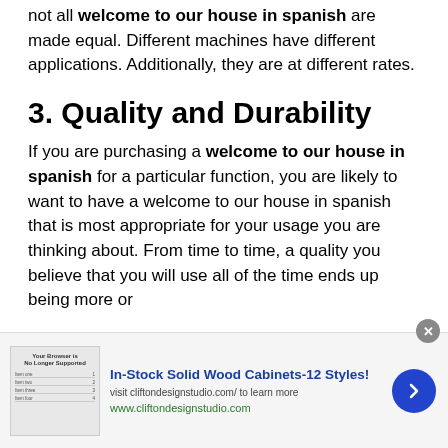not all welcome to our house in spanish are made equal. Different machines have different applications. Additionally, they are at different rates.
3. Quality and Durability
If you are purchasing a welcome to our house in spanish for a particular function, you are likely to want to have a welcome to our house in spanish that is most appropriate for your usage you are thinking about. From time to time, a quality you believe that you will use all of the time ends up being more or
[Figure (other): Advertisement banner: In-Stock Solid Wood Cabinets-12 Styles! visit cliftondesignstudio.com/ to learn more www.cliftondesignstudio.com]